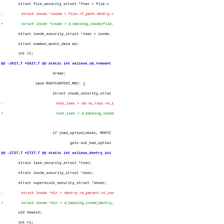[Figure (screenshot): A code diff (patch) showing changes to Linux kernel SELinux security module source code. Lines in red with '-' are removed lines, lines in green with '+' are added lines, and lines in blue/bold starting with '@@' are hunk headers. The changes replace direct inode pointer accesses with d_backing_inode() function calls.]